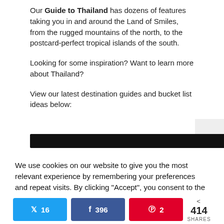Our Guide to Thailand has dozens of features taking you in and around the Land of Smiles, from the rugged mountains of the north, to the postcard-perfect tropical islands of the south.
Looking for some inspiration? Want to learn more about Thailand?
View our latest destination guides and bucket list ideas below:
We use cookies on our website to give you the most relevant experience by remembering your preferences and repeat visits. By clicking “Accept”, you consent to the use of ALL the cookies. Do not sell my personal information.
16 Twitter shares, 396 Facebook shares, 2 Pinterest shares, 414 total shares